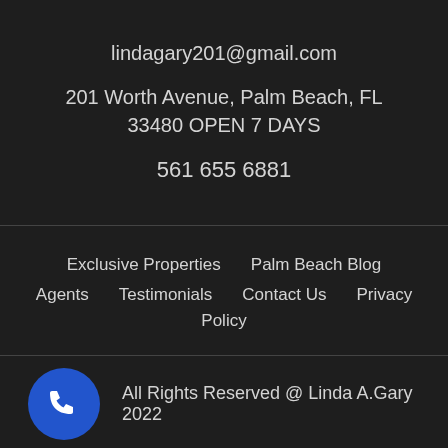lindagary201@gmail.com
201 Worth Avenue, Palm Beach, FL 33480 OPEN 7 DAYS
561 655 6881
Exclusive Properties
Palm Beach Blog
Agents
Testimonials
Contact Us
Privacy Policy
All Rights Reserved @ Linda A.Gary 2022